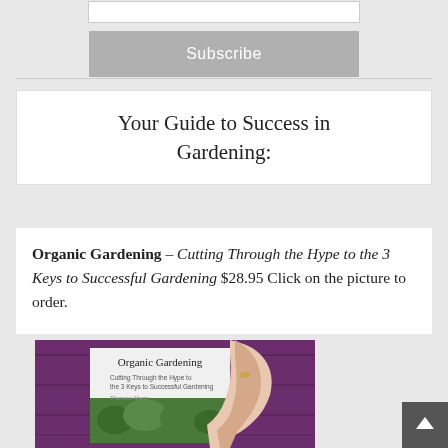[Figure (other): Gray Subscribe button at the top of the page widget area]
Your Guide to Success in Gardening:
Organic Gardening – Cutting Through the Hype to the 3 Keys to Successful Gardening $28.95 Click on the picture to order.
[Figure (photo): A hand holding the book 'Organic Gardening: Cutting Through the Hype to the 3 Keys to Successful Gardening' by Theresa Merz, with a garden background on the cover, against a purple wooden door.]